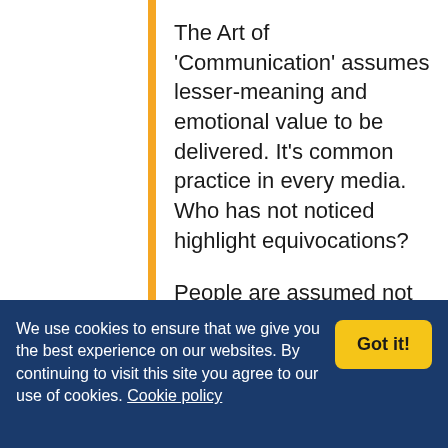The Art of 'Communication' assumes lesser-meaning and emotional value to be delivered. It's common practice in every media. Who has not noticed highlight equivocations?
People are assumed not to notice, just needing to be happy.
Double is good… More close to the intention, not with facts.
Everyone not looking, without negative words, is happier.
We use cookies to ensure that we give you the best experience on our websites. By continuing to visit this site you agree to our use of cookies. Cookie policy